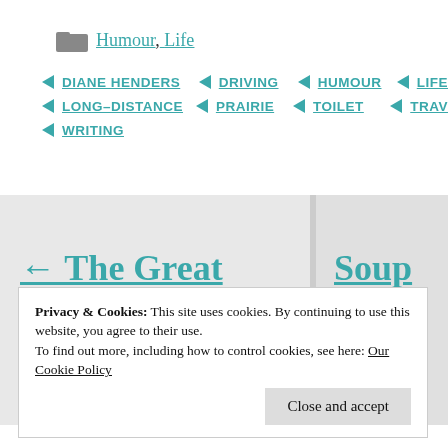Humour, Life
DIANE HENDERS
DRIVING
HUMOUR
LIFE
LONG-DISTANCE
PRAIRIE
TOILET
TRAV...
WRITING
← The Great Motorcycle Debate
Soup Nose: Fun...
Privacy & Cookies: This site uses cookies. By continuing to use this website, you agree to their use.
To find out more, including how to control cookies, see here: Our Cookie Policy